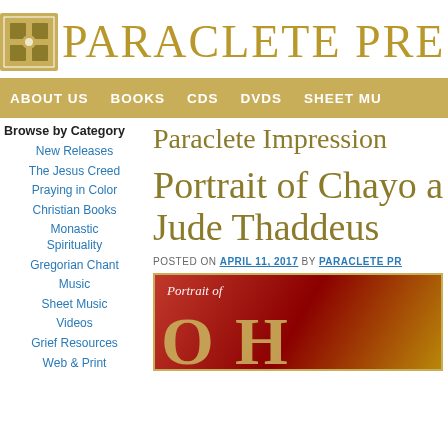PARACLETE PRESS
ABOUT US  BOOKS  CDS  DVDS  SHEET MU
Browse by Category
New Releases
The Jesus Creed
Praying in Color
Christian Books
Monastic Spirituality
Gregorian Chant
Music
Sheet Music
Videos
Grief Resources
Web & Print
Paraclete Impression
Portrait of Chayo a Jude Thaddeus
POSTED ON APRIL 11, 2017 BY PARACLETE PR
[Figure (photo): Book cover showing 'Portrait of' text with golden letters on red/gold background]